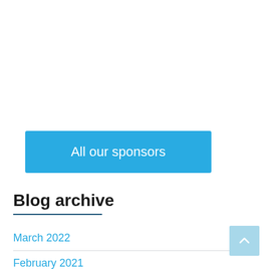[Figure (other): Blue button labeled 'All our sponsors']
Blog archive
March 2022
February 2021
March 2020